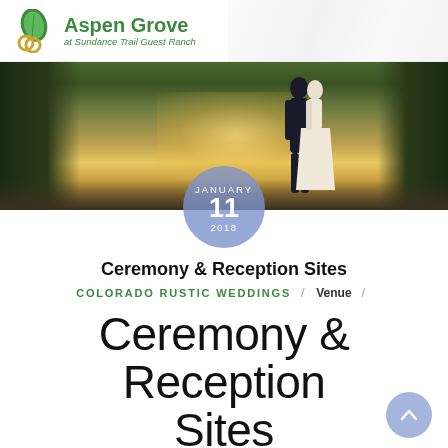Aspen Grove at Sundance Trail Guest Ranch
[Figure (photo): Hero wedding photo showing a couple in a forest/outdoor setting with golden light, overlaid with a circular date badge showing JANUARY 11 2018]
Ceremony & Reception Sites
COLORADO RUSTIC WEDDINGS / Venue /
Ceremony & Reception Sites
With so much flexibility at Aspen Grove, we offer a